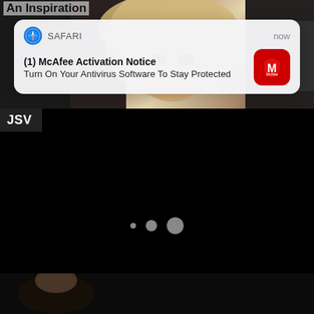An Inspiration
[Figure (screenshot): Safari browser notification popup: '(1) McAfee Activation Notice - Turn On Your Antivirus Software To Stay Protected' with McAfee red icon on right, Safari compass icon and 'now' timestamp on top row.]
JSV
[Figure (screenshot): Black loading screen with three progressively larger grey dots indicating loading state.]
[Figure (photo): Partial bottom strip showing a person or figure, very dark.]